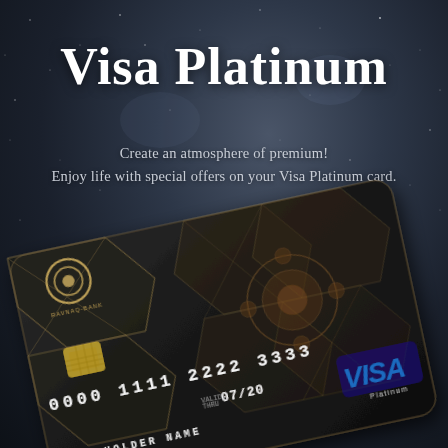Visa Platinum
Create an atmosphere of premium!
Enjoy life with special offers on your Visa Platinum card.
[Figure (illustration): A dark luxury Visa Platinum credit card from Ravnaq-Bank with ornate geometric and floral pattern design, showing card number 0000 1111 2222 3333, expiry 07/20, CARD HOLDER NAME, with the VISA logo in blue and Platinum text, displayed at an angle on a dark starry background.]